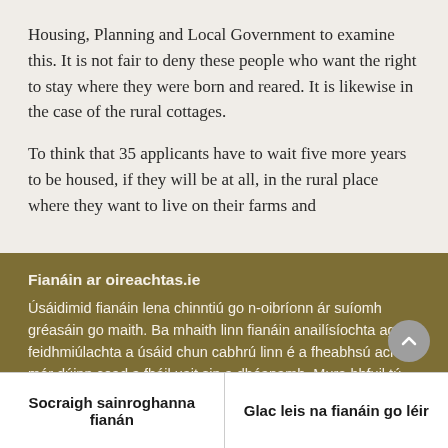Housing, Planning and Local Government to examine this. It is not fair to deny these people who want the right to stay where they were born and reared. It is likewise in the case of the rural cottages.
To think that 35 applicants have to wait five more years to be housed, if they will be at all, in the rural place where they want to live on their farms and
Fianáin ar oireachtas.ie
Úsáidimid fianáin lena chinntiú go n-oibríonn ár suíomh gréasáin go maith. Ba mhaith linn fianáin anailísíochta agus feidhmiúlachta a úsáid chun cabhrú linn é a fheabhsú ach ní mór dúinn cead a fháil uait sin a dhéanamh. Mura bhfuil tú sásta cead a thabhairt, ní úsáidfear ach fianáin riachtanacha. Léigh tuileadh faoinár bhfianáin
Socraigh sainroghanna fianán
Glac leis na fianáin go léir